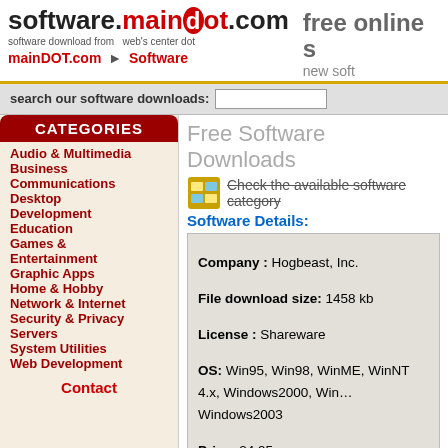software.maindot.com — software download from web's center dot | mainDOT.com ▶ Software | free online s… new soft…
search our software downloads:
CATEGORIES
Audio & Multimedia
Business
Communications
Desktop
Development
Education
Games & Entertainment
Graphic Apps
Home & Hobby
Network & Internet
Security & Privacy
Servers
System Utilities
Web Development
Contact
Free Software Downloads
Check the available software category
Software Details:
Company : Hogbeast, Inc.
File download size: 1458 kb
License : Shareware
OS: Win95, Win98, WinME, WinNT 4.x, Windows2000, Win… Windows2003
Price: 24.95
Release date: 2003-02-19
related: encryption, decryption, wipe, wiping,
Smash! 2.0 description
Smash! is a fast, powerful, user friendly encr… level file wiping. When it comes to keeping yo… Smash! is the answer to your every security n… capability of encrypting, decrypting, and m…